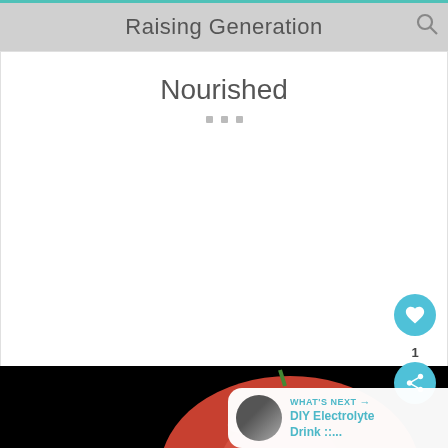Raising Generation
Nourished
[Figure (screenshot): Mobile app/website screenshot showing 'Raising Generation Nourished' blog header with teal top border, search icon, white content area with title 'Nourished' and three grey dots below, heart/like button, share button with count '1', and a photo of a tomato on black background with 'WHAT'S NEXT' overlay showing 'DIY Electrolyte Drink ::...']